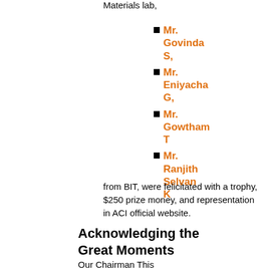Materials lab,
Mr. Govinda S,
Mr. Eniyacha G,
Mr. Gowtham T
Mr. Ranjith Selvan K
from BIT, were felicitated with a trophy, $250 prize money, and representation in ACI official website.
Acknowledging the Great Moments
Our Chairman This